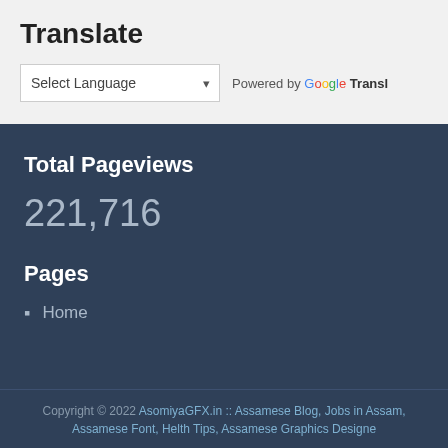Translate
Select Language  Powered by Google Transl
Total Pageviews
221,716
Pages
Home
Copyright © 2022 AsomiyaGFX.in :: Assamese Blog, Jobs in Assam, Assamese Font, Helth Tips, Assamese Graphics Designe